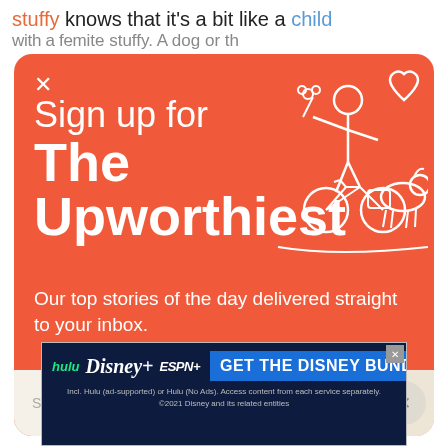stuffy knows that it's a bit like a child
[Figure (screenshot): Email newsletter signup modal with coral/orange-red background. Shows 'Sign up for The Upworthiest' heading, tagline 'Our top stories of the day delivered straight to your inbox.', a SIGN ME UP input field, YES PLEASE button, close X button, and a white line-art illustration of a person on a bike with a dog and heart.]
[Figure (screenshot): Disney Bundle advertisement banner showing Hulu, Disney+, and ESPN+ logos with 'GET THE DISNEY BUNDLE' call to action button and fine print about included services.]